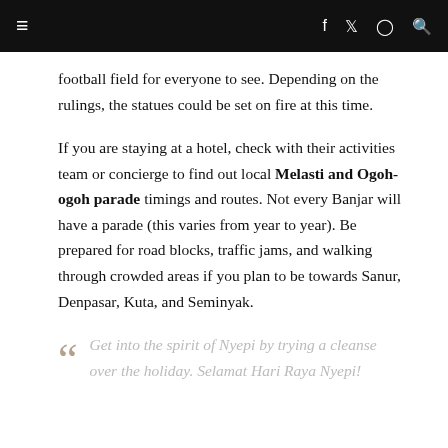≡  f  🐦  ⊙  🔍
football field for everyone to see. Depending on the rulings, the statues could be set on fire at this time.
If you are staying at a hotel, check with their activities team or concierge to find out local Melasti and Ogoh-ogoh parade timings and routes. Not every Banjar will have a parade (this varies from year to year). Be prepared for road blocks, traffic jams, and walking through crowded areas if you plan to be towards Sanur, Denpasar, Kuta, and Seminyak.
Get into the spirit of Nyepi by trying a cleanse over the holiday. Selamat Hari Raya Nyepi!